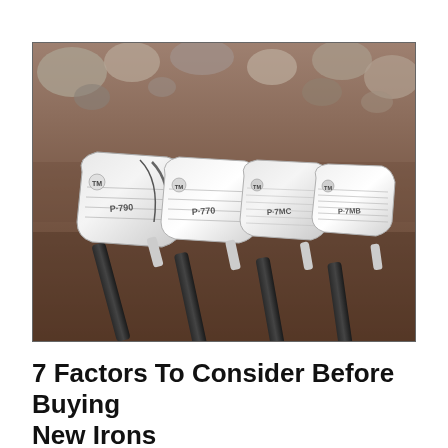[Figure (photo): Four TaylorMade P-series golf irons (P-790, P-770, P-7MC, P-7MB) laid out in a row on a rocky rustic surface with pebbles in the background. The clubs are silver/chrome colored with black shafts.]
7 Factors To Consider Before Buying New Irons